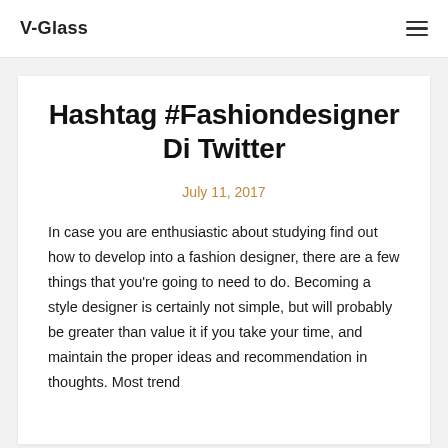V-Glass
Hashtag #Fashiondesigner Di Twitter
July 11, 2017
In case you are enthusiastic about studying find out how to develop into a fashion designer, there are a few things that you’re going to need to do. Becoming a style designer is certainly not simple, but will probably be greater than value it if you take your time, and maintain the proper ideas and recommendation in thoughts. Most trend